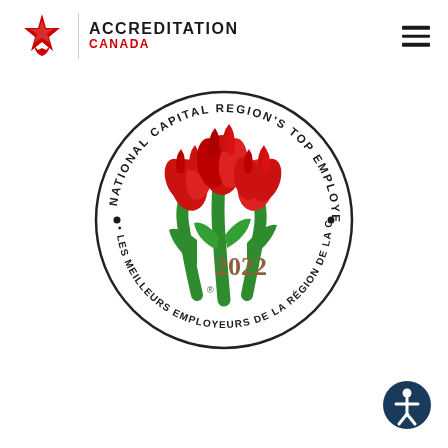Accreditation Canada
[Figure (logo): Accreditation Canada logo: red star-ribbon icon with text ACCREDITATION CANADA]
[Figure (logo): National Capital Region's Top Employers 2022 circular badge with red tulips and bilingual text: NATIONAL CAPITAL REGION'S TOP EMPLOYERS / LES MEILLEURS EMPLOYEURS DE LA RÉGION DE LA CAPITALE 2022]
[Figure (logo): Accessibility icon: white person figure on dark blue circle background]